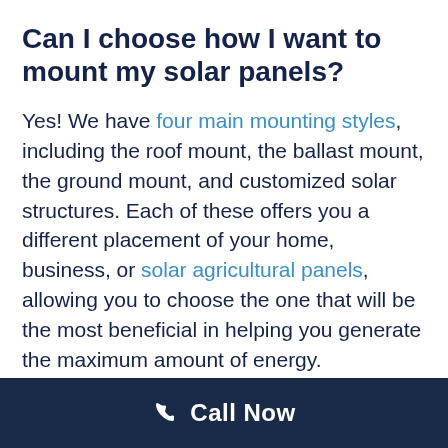Can I choose how I want to mount my solar panels?
Yes! We have four main mounting styles, including the roof mount, the ballast mount, the ground mount, and customized solar structures. Each of these offers you a different placement of your home,  business, or solar agricultural panels, allowing you to choose the one that will be the most beneficial in helping you generate the maximum amount of energy.
Are there financing options
Call Now